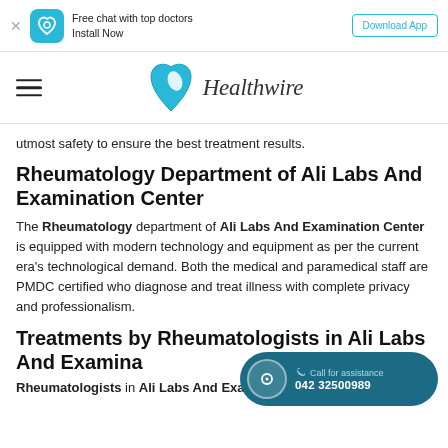Free chat with top doctors Install Now | Download App
[Figure (logo): Healthwire logo with teal heart-shaped icon and italic text 'Healthwire']
utmost safety to ensure the best treatment results.
Rheumatology Department of Ali Labs And Examination Center
The Rheumatology department of Ali Labs And Examination Center is equipped with modern technology and equipment as per the current era's technological demand. Both the medical and paramedical staff are PMDC certified who diagnose and treat illness with complete privacy and professionalism.
Treatments by Rheumatologists in Ali Labs And Examination
Rheumatologists in Ali Labs And Examination Center